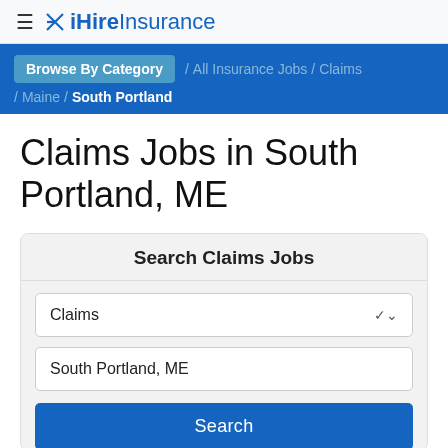iHireInsurance
Browse By Category / All Insurance Jobs / Claims / Maine / South Portland
Claims Jobs in South Portland, ME
Search Claims Jobs
Claims
South Portland, ME
Search